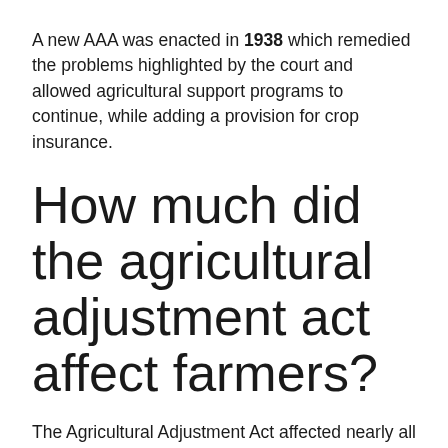A new AAA was enacted in 1938 which remedied the problems highlighted by the court and allowed agricultural support programs to continue, while adding a provision for crop insurance.
How much did the agricultural adjustment act affect farmers?
The Agricultural Adjustment Act affected nearly all of the farmers in this time period. (Around 99%).